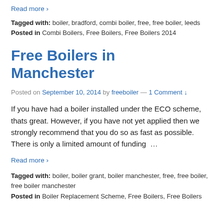Read more ›
Tagged with: boiler, bradford, combi boiler, free, free boiler, leeds
Posted in Combi Boilers, Free Boilers, Free Boilers 2014
Free Boilers in Manchester
Posted on September 10, 2014 by freeboiler — 1 Comment ↓
If you have had a boiler installed under the ECO scheme, thats great. However, if you have not yet applied then we strongly recommend that you do so as fast as possible. There is only a limited amount of funding …
Read more ›
Tagged with: boiler, boiler grant, boiler manchester, free, free boiler, free boiler manchester
Posted in Boiler Replacement Scheme, Free Boilers, Free Boilers 2014